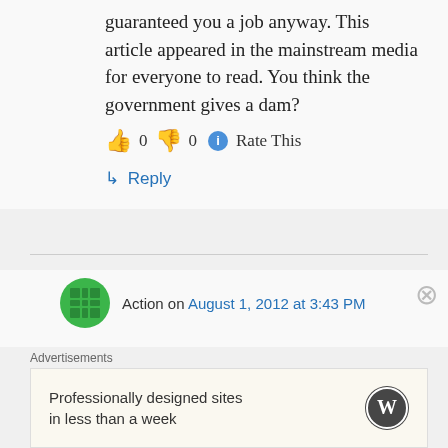guaranteed you a job anyway. This article appeared in the mainstream media for everyone to read. You think the government gives a dam?
👍 0 👎 0 ℹ Rate This
↳ Reply
Action on August 1, 2012 at 3:43 PM
A good place to start is to assess the health workforce requirement for the next decade or two – something
Advertisements
Professionally designed sites in less than a week